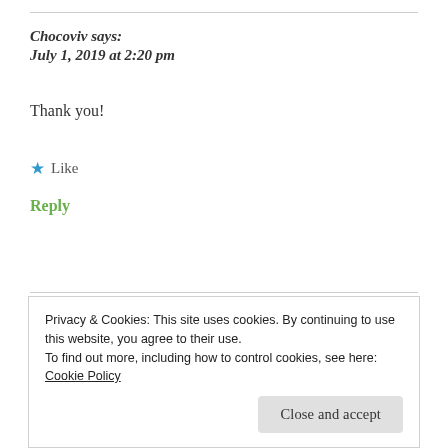Chocoviv says:
July 1, 2019 at 2:20 pm
Thank you!
★ Like
Reply
Privacy & Cookies: This site uses cookies. By continuing to use this website, you agree to their use.
To find out more, including how to control cookies, see here: Cookie Policy
Close and accept